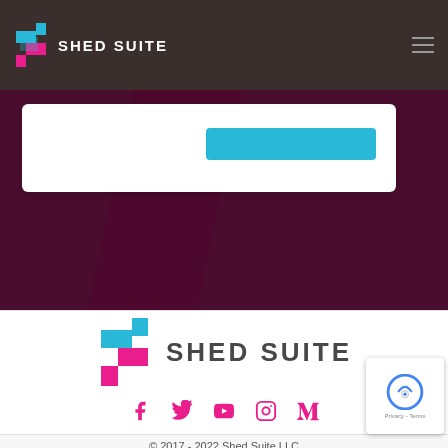SHED SUITE
[Figure (illustration): Dark purple hero section with white card and blue button]
[Figure (logo): Shed Suite logo: S-shaped icon in cyan and pink with SHED SUITE text]
[Figure (illustration): Social media icons: Facebook, Twitter, YouTube, Instagram, Medium in pink]
© 2017 - 2022 Shed Suite LLC
Terms of Use - Privacy Policy